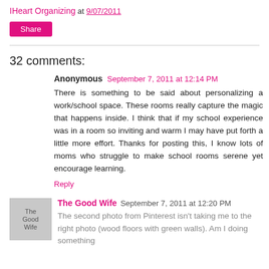IHeart Organizing at 9/07/2011
Share
32 comments:
Anonymous September 7, 2011 at 12:14 PM
There is something to be said about personalizing a work/school space. These rooms really capture the magic that happens inside. I think that if my school experience was in a room so inviting and warm I may have put forth a little more effort. Thanks for posting this, I know lots of moms who struggle to make school rooms serene yet encourage learning.
Reply
The Good Wife September 7, 2011 at 12:20 PM
The second photo from Pinterest isn't taking me to the right photo (wood floors with green walls). Am I doing something